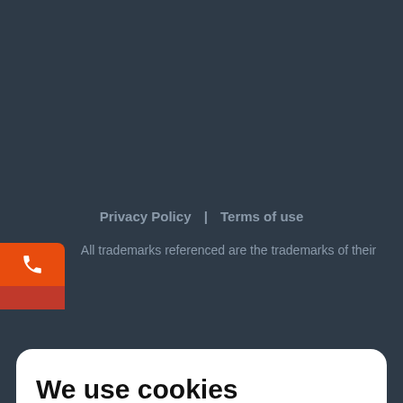Privacy Policy | Terms of use
All trademarks referenced are the trademarks of their
We use cookies
We use our own and third-party cookies to personalize content and to analyze web traffic. Read more about cookies
Accept cookies
Reject